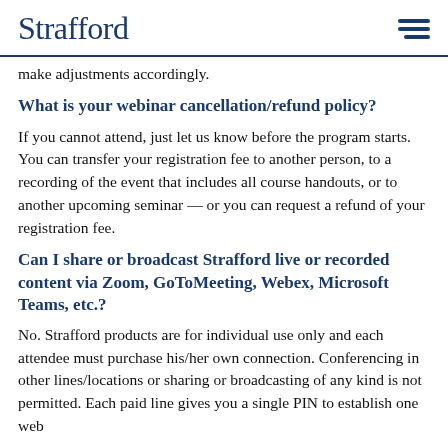Strafford
make adjustments accordingly.
What is your webinar cancellation/refund policy?
If you cannot attend, just let us know before the program starts. You can transfer your registration fee to another person, to a recording of the event that includes all course handouts, or to another upcoming seminar — or you can request a refund of your registration fee.
Can I share or broadcast Strafford live or recorded content via Zoom, GoToMeeting, Webex, Microsoft Teams, etc.?
No. Strafford products are for individual use only and each attendee must purchase his/her own connection. Conferencing in other lines/locations or sharing or broadcasting of any kind is not permitted. Each paid line gives you a single PIN to establish one web